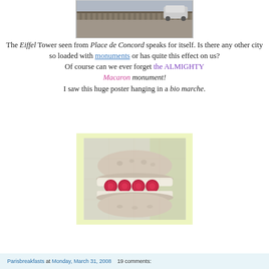[Figure (photo): Top portion of a street/bridge scene photo, partially cropped at the top of the page]
The Eiffel Tower seen from Place de Concord speaks for itself. Is there any other city so loaded with monuments or has quite this effect on us? Of course can we ever forget the ALMIGHTY Macaron monument! I saw this huge poster hanging in a bio marche.
[Figure (photo): Large close-up photo of a macaron with raspberry filling, displayed as a poster on a light green tiled wall background]
Parisbreakfasts at Monday, March 31, 2008   19 comments: